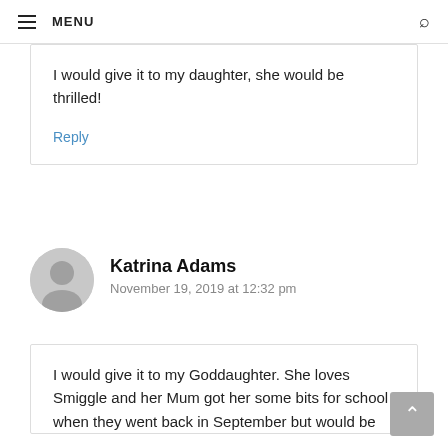MENU
I would give it to my daughter, she would be thrilled!
Reply
Katrina Adams
November 19, 2019 at 12:32 pm
I would give it to my Goddaughter. She loves Smiggle and her Mum got her some bits for school when they went back in September but would be